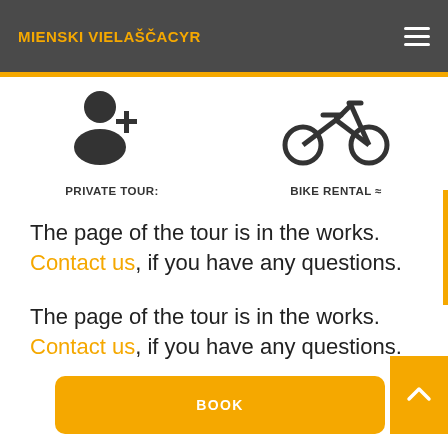MIENSKI VIELASPACYR
[Figure (illustration): Person with plus icon representing Private Tour]
PRIVATE TOUR:
[Figure (illustration): Bicycle icon representing Bike Rental]
BIKE RENTAL ≈
The page of the tour is in the works. Contact us, if you have any questions.
The page of the tour is in the works. Contact us, if you have any questions.
BOOK